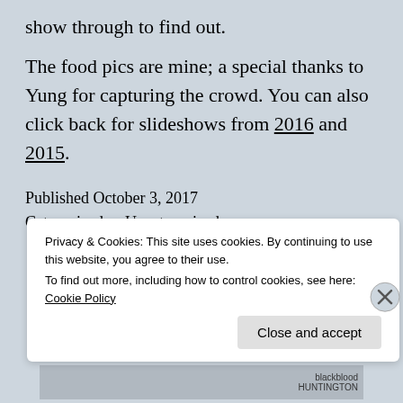show through to find out.
The food pics are mine; a special thanks to Yung for capturing the crowd. You can also click back for slideshows from 2016 and 2015.
Published October 3, 2017
Categorized as Uncategorized
Privacy & Cookies: This site uses cookies. By continuing to use this website, you agree to their use.
To find out more, including how to control cookies, see here: Cookie Policy